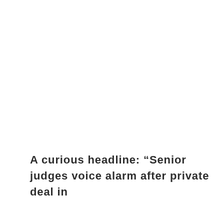A curious headline: “Senior judges voice alarm after private deal in